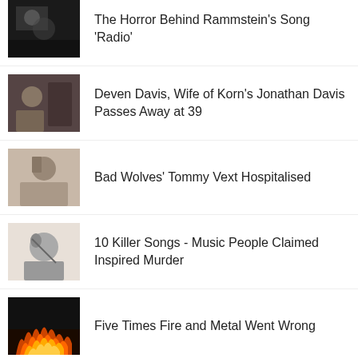The Horror Behind Rammstein's Song 'Radio'
Deven Davis, Wife of Korn's Jonathan Davis Passes Away at 39
Bad Wolves' Tommy Vext Hospitalised
10 Killer Songs - Music People Claimed Inspired Murder
Five Times Fire and Metal Went Wrong
Megadeth - The World Needs A Hero Remastered Review
Beast In Black unveil new single 'Die By The Blade'